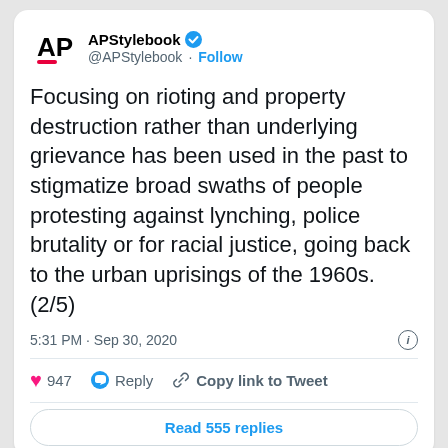[Figure (screenshot): Screenshot of a tweet from APStylebook (@APStylebook) with verified badge and Follow button. The tweet reads: 'Focusing on rioting and property destruction rather than underlying grievance has been used in the past to stigmatize broad swaths of people protesting against lynching, police brutality or for racial justice, going back to the urban uprisings of the 1960s. (2/5)' Posted at 5:31 PM · Sep 30, 2020. 947 likes. Actions: Reply, Copy link to Tweet. Read 555 replies button. Below is a second partial tweet card from APStylebook dated Sep 30, 2020.]